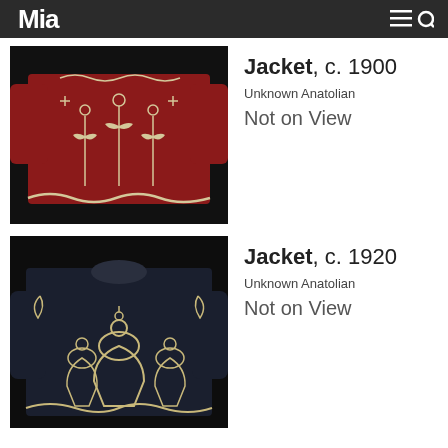Mia
[Figure (photo): Red embroidered Anatolian jacket with cream floral and botanical embroidery patterns on crimson velvet background, c. 1900]
Jacket, c. 1900
Unknown Anatolian
Not on View
[Figure (photo): Dark navy/black embroidered Anatolian jacket with cream elaborate floral and vase embroidery patterns, c. 1920]
Jacket, c. 1920
Unknown Anatolian
Not on View